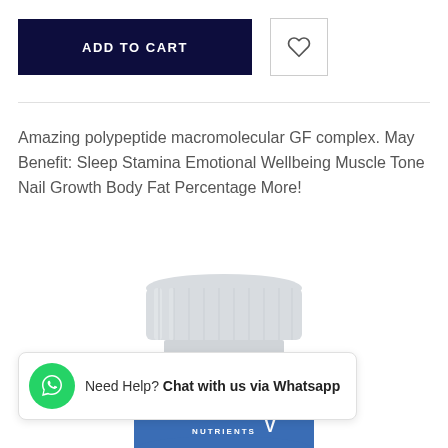ADD TO CART
Amazing polypeptide macromolecular GF complex. May Benefit: Sleep Stamina Emotional Wellbeing Muscle Tone Nail Growth Body Fat Percentage More!
[Figure (photo): White supplement bottle with blue label showing NUTRIENTS text, partially visible, white cap, studio product shot]
Need Help? Chat with us via Whatsapp